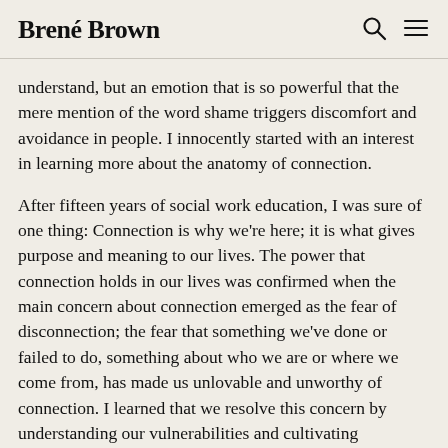Brené Brown
understand, but an emotion that is so powerful that the mere mention of the word shame triggers discomfort and avoidance in people. I innocently started with an interest in learning more about the anatomy of connection.
After fifteen years of social work education, I was sure of one thing: Connection is why we're here; it is what gives purpose and meaning to our lives. The power that connection holds in our lives was confirmed when the main concern about connection emerged as the fear of disconnection; the fear that something we've done or failed to do, something about who we are or where we come from, has made us unlovable and unworthy of connection. I learned that we resolve this concern by understanding our vulnerabilities and cultivating